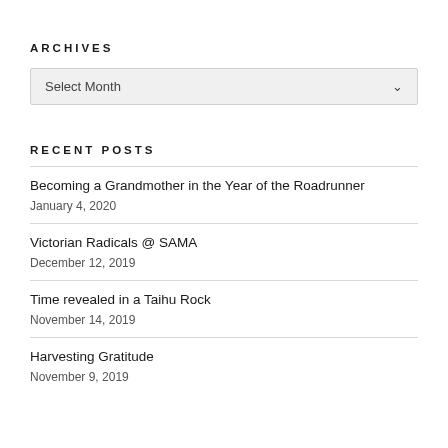ARCHIVES
Select Month
RECENT POSTS
Becoming a Grandmother in the Year of the Roadrunner
January 4, 2020
Victorian Radicals @ SAMA
December 12, 2019
Time revealed in a Taihu Rock
November 14, 2019
Harvesting Gratitude
November 9, 2019